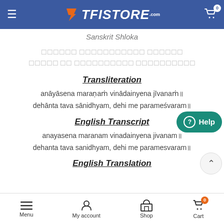TFISTORE.com
Sanskrit Shloka
[Sanskrit text line 1]
[Sanskrit text line 2]
Transliteration
anāyāsena maraṇaṁ vinādainyena jīvanaṁ॥
dehānta tava sānidhyam, dehi me parameśvaram॥
English Transcript
anayasena maranam vinadainyena jivanam॥
dehanta tava sanidhyam, dehi me paramesvaram॥
English Translation
Menu | My account | Shop | Cart